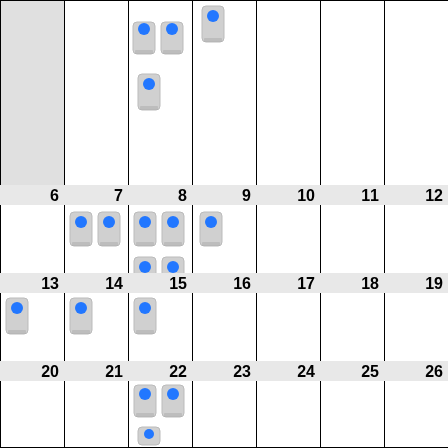[Figure (illustration): Calendar grid showing days 6-26 with phone/device icons on certain dates representing scheduled events. Top partial row, then rows for 6-12, 13-19, 20-26.]